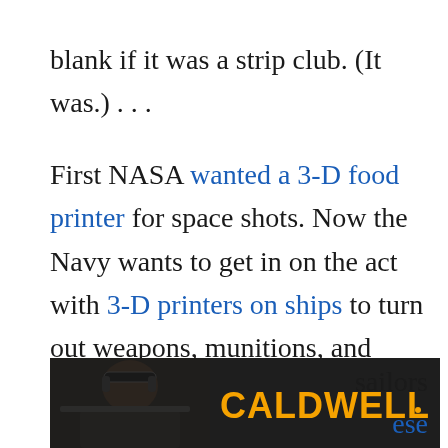blank if it was a strip club. (It was.) . . .

First NASA wanted a 3-D food printer for space shots. Now the Navy wants to get in on the act with 3-D printers on ships to turn out weapons, munitions, and even ready-to-fly drones as needed. “The eventual goal is a drone that flies right out of the printer with electronics and motive power already in place. An organic ability to print replaceable drones from ships, forward operating bases or during disaster relief operations to serve as targets or observation sailors ese
[Figure (photo): Advertisement banner for Caldwell showing a man with tactical headphones aiming a firearm, with the yellow CALDWELL brand logo text on dark background]